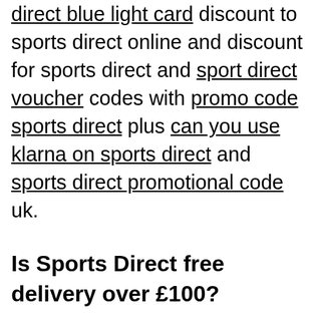direct blue light card discount to sports direct online and discount for sports direct and sport direct voucher codes with promo code sports direct plus can you use klarna on sports direct and sports direct promotional code uk.
Is Sports Direct free delivery over £100?